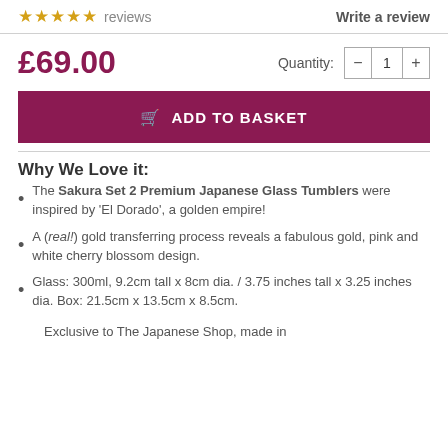★★★★★ reviews   Write a review
£69.00   Quantity: 1
ADD TO BASKET
Why We Love it:
The Sakura Set 2 Premium Japanese Glass Tumblers were inspired by 'El Dorado', a golden empire!
A (real!) gold transferring process reveals a fabulous gold, pink and white cherry blossom design.
Glass: 300ml, 9.2cm tall x 8cm dia. / 3.75 inches tall x 3.25 inches dia. Box: 21.5cm x 13.5cm x 8.5cm.
Exclusive to The Japanese Shop, made in